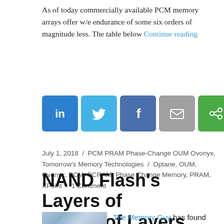As of today commercially available PCM memory arrays offer w/e endurance of some six orders of magnitude less. The table below Continue reading
[Figure (other): Row of five social sharing icons: LinkedIn (blue), Twitter (blue), Facebook (blue), Email (grey), and a green share icon]
July 1, 2018  /  PCM PRAM Phase-Change OUM Ovonyx, Tomorrow's Memory Technologies  /  Optane, OUM, Ovonyx, PCM, PCRAM, Phase Change Memory, PRAM, XPoint  /  1 Comment
NAND Flash's Layers of Layers of Layers
The Memory Guy has found